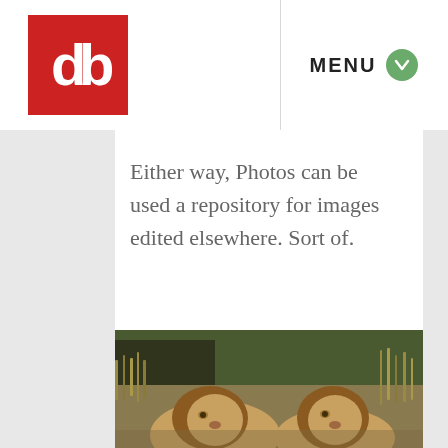[Figure (logo): Red square logo with white 'db' or 'dt' stylized letter mark]
MENU
Either way, Photos can be used a repository for images edited elsewhere. Sort of.
[Figure (photo): Two lions resting in savanna grass with trees in background]